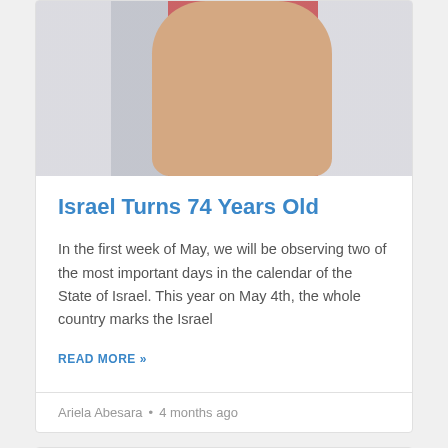[Figure (photo): A raised fist in front of flags with red and blue/white stripes (likely Israeli and American flags)]
Israel Turns 74 Years Old
In the first week of May, we will be observing two of the most important days in the calendar of the State of Israel. This year on May 4th, the whole country marks the Israel
READ MORE »
Ariela Abesara  •  4 months ago
DEPRESSION